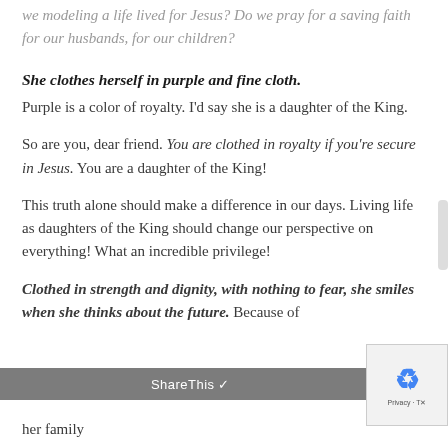we modeling a life lived for Jesus? Do we pray for a saving faith for our husbands, for our children?
She clothes herself in purple and fine cloth.
Purple is a color of royalty. I'd say she is a daughter of the King.
So are you, dear friend. You are clothed in royalty if you're secure in Jesus. You are a daughter of the King!
This truth alone should make a difference in our days. Living life as daughters of the King should change our perspective on everything! What an incredible privilege!
Clothed in strength and dignity, with nothing to fear, she smiles when she thinks about the future. Because of ShareThis and her family